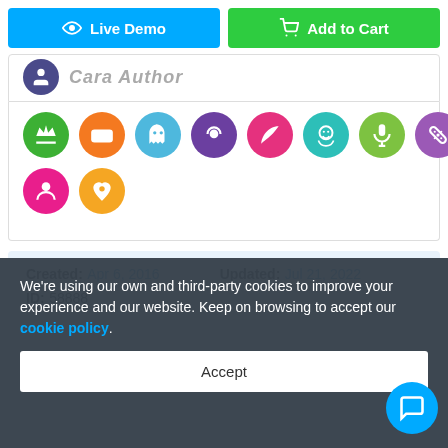[Figure (screenshot): Live Demo and Add to Cart buttons at top of page]
[Figure (screenshot): Author avatar and name row (partially visible)]
[Figure (screenshot): Row of 10 colorful circular category icons]
Created: Apr 6, 2016   Updated: Jul 21, 2022   ID: 58888
We're using our own and third-party cookies to improve your experience and our website. Keep on browsing to accept our cookie policy.
Accept